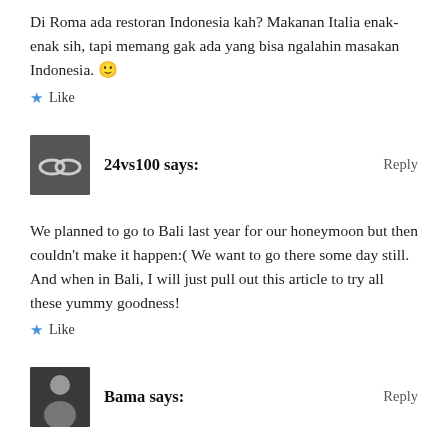Di Roma ada restoran Indonesia kah? Makanan Italia enak-enak sih, tapi memang gak ada yang bisa ngalahin masakan Indonesia. 🙂
★ Like
24vs100 says:
Reply
We planned to go to Bali last year for our honeymoon but then couldn't make it happen:( We want to go there some day still. And when in Bali, I will just pull out this article to try all these yummy goodness!
★ Like
Bama says:
Reply
I'm really sorry to hear that. But take that as a postponed trip,